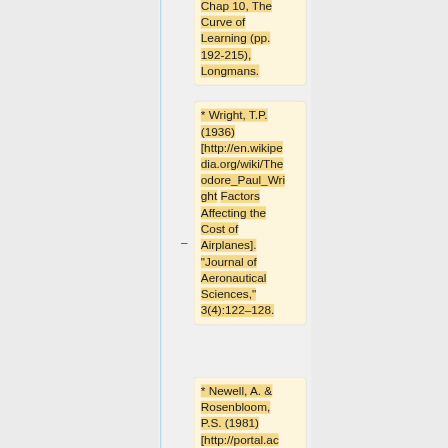Chap 10, The Curve of Learning (pp. 192-215), Longmans.
* Wright, T.P. (1936) [http://en.wikipedia.org/wiki/Theodore_Paul_Wright Factors Affecting the Cost of Airplanes]. "Journal of Aeronautical Sciences," 3(4):122–128.
* Newell, A. & Rosenbloom, P.S. (1981) [http://portal.ac